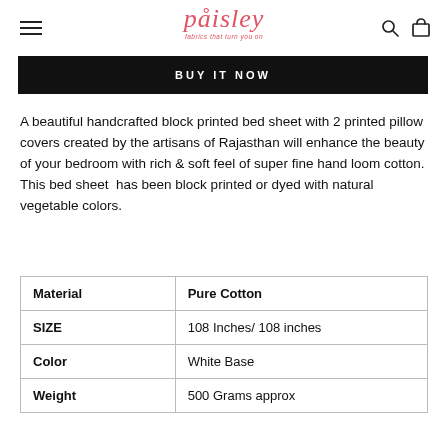paisley — fabrics that turn you on
BUY IT NOW
A beautiful handcrafted block printed bed sheet with 2 printed pillow covers created by the artisans of Rajasthan will enhance the beauty of your bedroom with rich & soft feel of super fine hand loom cotton. This bed sheet has been block printed or dyed with natural vegetable colors.
| Material | Pure Cotton |
| SIZE | 108 Inches/ 108 inches |
| Color | White Base |
| Weight | 500 Grams approx |